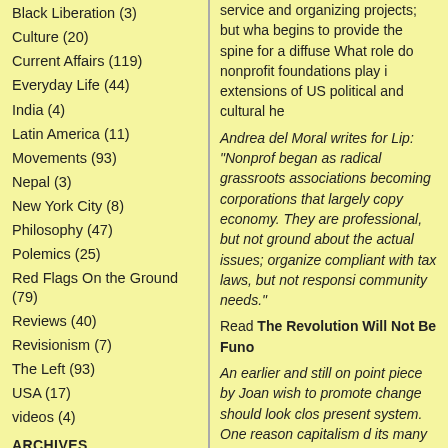Black Liberation (3)
Culture (20)
Current Affairs (119)
Everyday Life (44)
India (4)
Latin America (11)
Movements (93)
Nepal (3)
New York City (8)
Philosophy (47)
Polemics (25)
Red Flags On the Ground (79)
Reviews (40)
Revisionism (7)
The Left (93)
USA (17)
videos (4)
ARCHIVES
service and organizing projects; but what begins to provide the spine for a diffuse What role do nonprofit foundations play i extensions of US political and cultural he
Andrea del Moral writes for Lip: "Nonprof began as radical grassroots associations becoming corporations that largely copy economy. They are professional, but not ground about the actual issues; organize compliant with tax laws, but not responsi community needs."
Read The Revolution Will Not Be Funo
An earlier and still on point piece by Joan wish to promote change should look clos present system. One reason capitalism d its many weaknesses and valiant opposit because of the "nonprofit sector." Yet phi investment and its distribution, are gene critics of capitalism. Most studies of the s funded by the nonprofit sector itself; few followed up on the observation of Marx a Communist Manifesto: